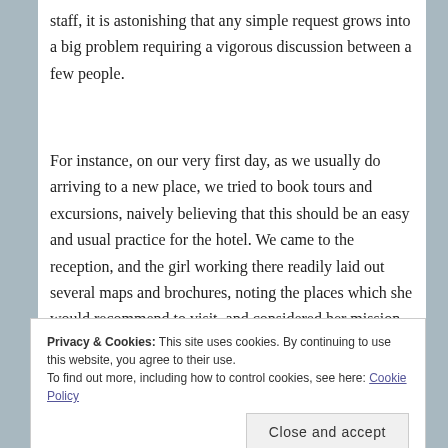staff, it is astonishing that any simple request grows into a big problem requiring a vigorous discussion between a few people.
For instance, on our very first day, as we usually do arriving to a new place, we tried to book tours and excursions, naively believing that this should be an easy and usual practice for the hotel. We came to the reception, and the girl working there readily laid out several maps and brochures, noting the places which she would recommend to visit, and considered her mission completed. We let her know that we weren't going to
Privacy & Cookies: This site uses cookies. By continuing to use this website, you agree to their use.
To find out more, including how to control cookies, see here: Cookie Policy
Close and accept
colleague to help. He pulled out a few more maps and